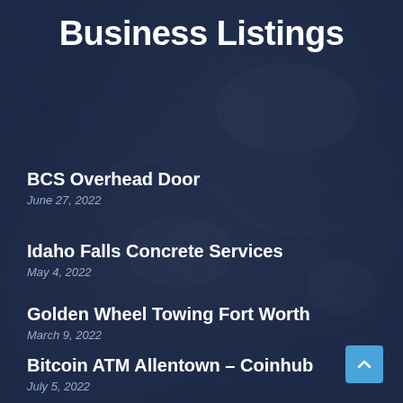Business Listings
BCS Overhead Door
June 27, 2022
Idaho Falls Concrete Services
May 4, 2022
Golden Wheel Towing Fort Worth
March 9, 2022
Bitcoin ATM Allentown – Coinhub
July 5, 2022